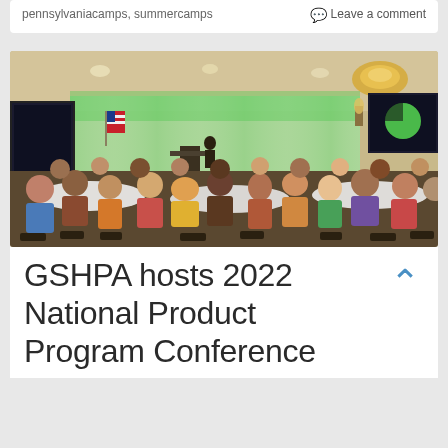pennsylvaniacamps, summercamps  Leave a comment
[Figure (photo): Conference room photo showing a large group of attendees seated at round tables facing a stage with green-lit white curtain backdrop and a presenter at a podium. Two projection screens visible on either side.]
GSHPA hosts 2022 National Product Program Conference